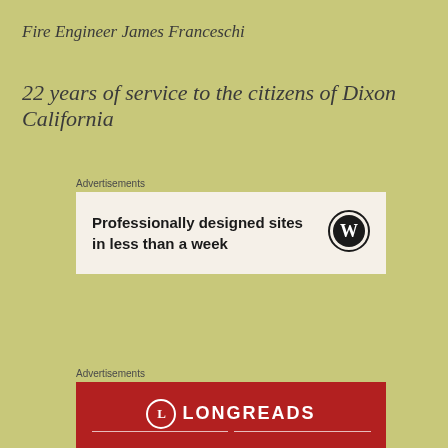Fire Engineer James Franceschi
22 years of service to the citizens of Dixon California
Advertisements
[Figure (other): WordPress advertisement banner: 'Professionally designed sites in less than a week' with WordPress logo]
Advertisements
[Figure (other): Longreads advertisement banner with red background, circular L logo and LONGREADS text with decorative lines]